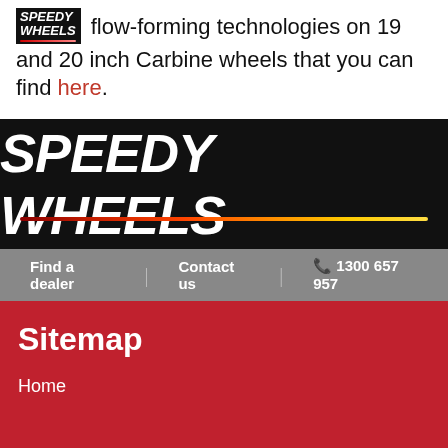SPEEDY WHEELS flow-forming technologies on 19 and 20 inch Carbine wheels that you can find here.
[Figure (logo): Speedy Wheels logo on black banner with red/orange gradient underline]
Find a dealer | Contact us | 📞 1300 657 957
Sitemap
Home